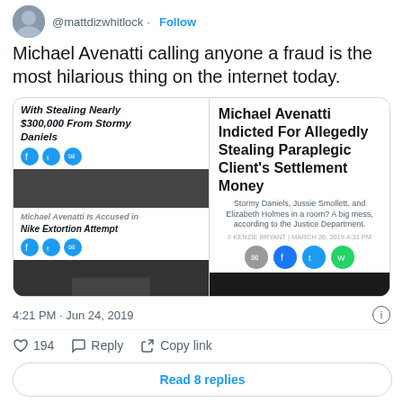@mattdizwhitlock · Follow
Michael Avenatti calling anyone a fraud is the most hilarious thing on the internet today.
[Figure (screenshot): Embedded news article cards showing Michael Avenatti headlines: 'With Stealing Nearly $300,000 From Stormy Daniels', 'Michael Avenatti Is Accused in Nike Extortion Attempt', 'Michael Avenatti Indicted For Allegedly Stealing Paraplegic Client's Settlement Money'. Social share icons visible. Images of Michael Avenatti in dark settings.]
4:21 PM · Jun 24, 2019
194  Reply  Copy link
Read 8 replies